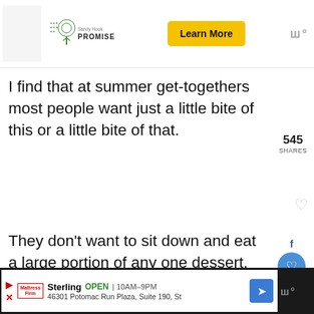[Figure (screenshot): Sandy Hook Promise advertisement banner with tree logo, organization name, and yellow Learn More button]
I find that at summer get-togethers most people want just a little bite of this or a little bite of that.
545 SHARES
They don't want to sit down and eat a large portion of any one dessert.
559
[Figure (photo): Close-up photo of a cookie or baked good with chocolate chips on a gray surface]
WHAT'S NEXT → 12 Insanely Easy Memor...
[Figure (screenshot): Bottom advertisement for Mattress Firm in Sterling, showing store hours OPEN 10AM-9PM and address 46301 Potomac Run Plaza, Suite 190, St]